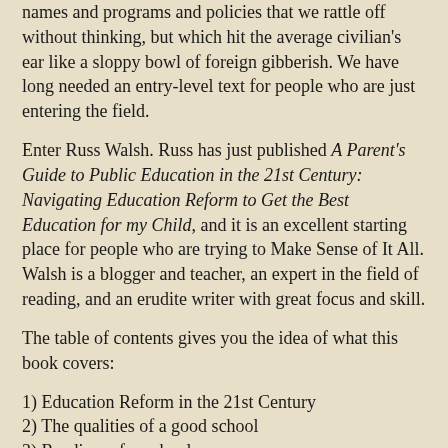names and programs and policies that we rattle off without thinking, but which hit the average civilian's ear like a sloppy bowl of foreign gibberish. We have long needed an entry-level text for people who are just entering the field.
Enter Russ Walsh. Russ has just published A Parent's Guide to Public Education in the 21st Century: Navigating Education Reform to Get the Best Education for my Child, and it is an excellent starting place for people who are trying to Make Sense of It All. Walsh is a blogger and teacher, an expert in the field of reading, and an erudite writer with great focus and skill.
The table of contents gives you the idea of what this book covers:
1) Education Reform in the 21st Century
2) The qualities of a good school
3) Readiness for school
4) Meeting your child's learning needs in Literacy and Mathematics
5) Meeting your child's social and emotional needs